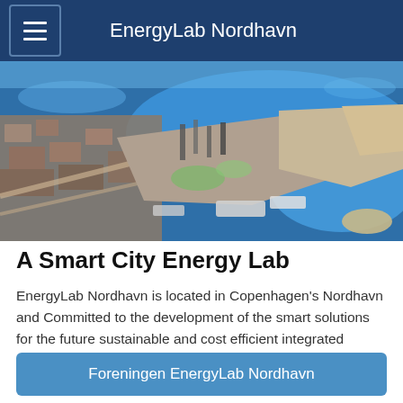EnergyLab Nordhavn
[Figure (photo): Aerial photograph of Copenhagen's Nordhavn harbor district showing port infrastructure, water, cranes, and urban development from above]
A Smart City Energy Lab
EnergyLab Nordhavn is located in Copenhagen's Nordhavn and Committed to the development of the smart solutions for the future sustainable and cost efficient integrated energy system.
Foreningen EnergyLab Nordhavn